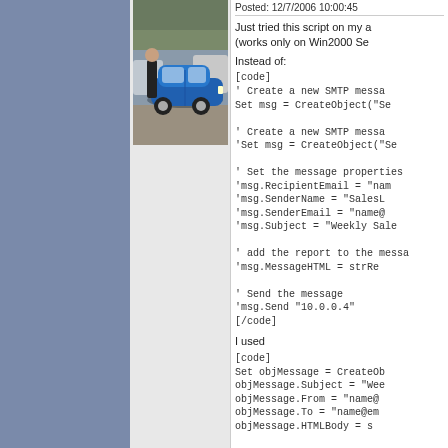[Figure (photo): Photo of a person standing next to a blue Nissan Altima coupe in a parking lot]
Posted: 12/7/2006 10:00:45
Just tried this script on my a (works only on Win2000 Se
Instead of:
[code]
' Create a new SMTP messa
Set msg = CreateObject("Se

' Create a new SMTP messa
'Set msg = CreateObject("Se

' Set the message properties
'msg.RecipientEmail = "nam
'msg.SenderName = "SalesL
'msg.SenderEmail = "name@
'msg.Subject = "Weekly Sale

' add the report to the messa
'msg.MessageHTML = strRe

' Send the message
'msg.Send "10.0.0.4"
[/code]
I used
[code]
Set objMessage = CreateOb
objMessage.Subject = "Wee
objMessage.From = "name@
objMessage.To = "name@em
objMessage.HTMLBody = s

'==This section provides the
'==Normally you will only c
objMessage.Configuration